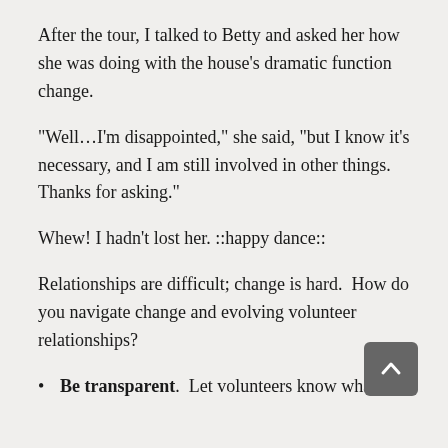After the tour, I talked to Betty and asked her how she was doing with the house’s dramatic function change.
“Well…I’m disappointed,” she said, “but I know it’s necessary, and I am still involved in other things. Thanks for asking.”
Whew! I hadn’t lost her. ::happy dance::
Relationships are difficult; change is hard.  How do you navigate change and evolving volunteer relationships?
Be transparent.  Let volunteers know what’s